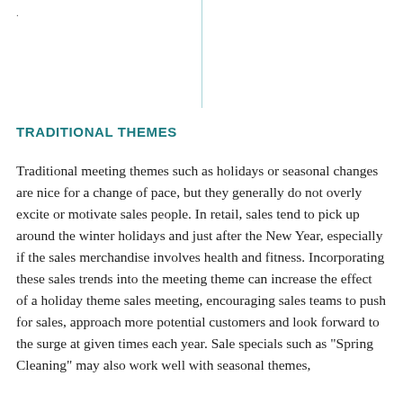TRADITIONAL THEMES
Traditional meeting themes such as holidays or seasonal changes are nice for a change of pace, but they generally do not overly excite or motivate sales people. In retail, sales tend to pick up around the winter holidays and just after the New Year, especially if the sales merchandise involves health and fitness. Incorporating these sales trends into the meeting theme can increase the effect of a holiday theme sales meeting, encouraging sales teams to push for sales, approach more potential customers and look forward to the surge at given times each year. Sale specials such as "Spring Cleaning" may also work well with seasonal themes,